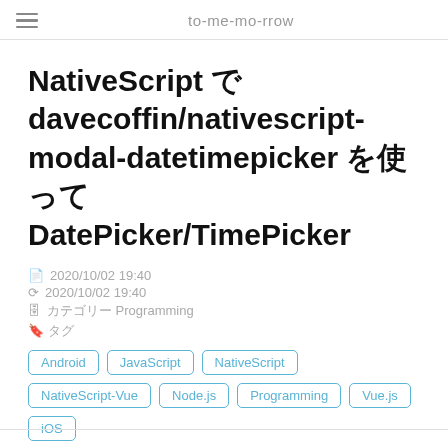to-me-mo-rrow
NativeScript で davecoffin/nativescript-modal-datetimepicker を使って DatePicker/TimePicker
2020/10/02 19:40
2020/10/02 19:40
カテゴリー Programming
タグ
Android
JavaScript
NativeScript
NativeScript-Vue
Node.js
Programming
Vue.js
iOS